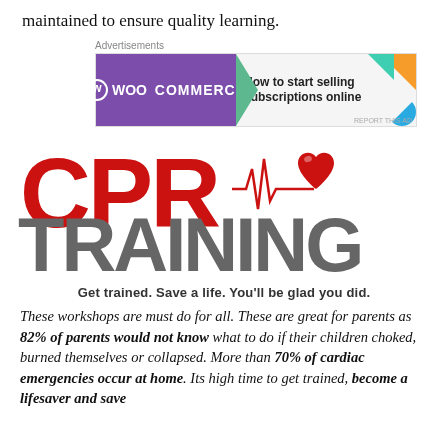maintained to ensure quality learning.
[Figure (screenshot): WooCommerce advertisement banner: 'How to start selling subscriptions online']
[Figure (logo): CPR Training logo with ECG line and heart graphic. Tagline: Get trained. Save a life. You'll be glad you did.]
These workshops are must do for all. These are great for parents as 82% of parents would not know what to do if their children choked, burned themselves or collapsed. More than 70% of cardiac emergencies occur at home. Its high time to get trained, become a lifesaver and save